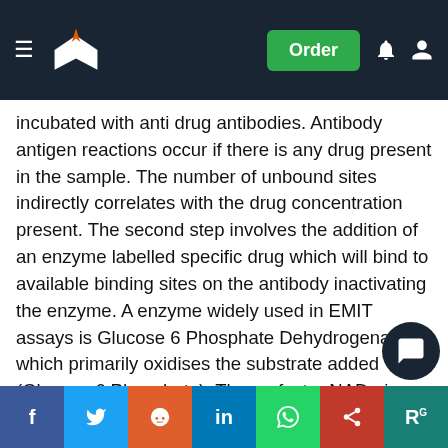Navigation header with logo and Order button
incubated with anti drug antibodies. Antibody antigen reactions occur if there is any drug present in the sample. The number of unbound sites indirectly correlates with the drug concentration present. The second step involves the addition of an enzyme labelled specific drug which will bind to available binding sites on the antibody inactivating the enzyme. A enzyme widely used in EMIT assays is Glucose 6 Phosphate Dehydrogenase which primarily oxidises the substrate added (Glucose 6 Phosphate). The co-factor NAD+ is also reduced to NADH by the active enzyme. Any enzyme drug conjugate that is unbound remains active, therefore only in this case , can the oxidation of NAD+ to NADH occur. An increase in absorbance photometrically @ 340nm correlates with the amount of NADH produced (Jacqueline Stanley 2002)
Social share bar: Facebook, Twitter, Reddit, LinkedIn, WhatsApp, Share, Blog